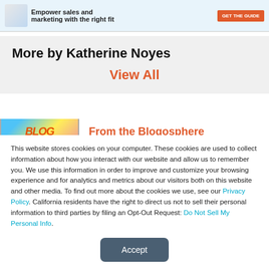[Figure (infographic): Advertisement banner: CRM for Enterprise logo on left, image of globe/figure, text 'Empower sales and marketing with the right fit', orange 'GET THE GUIDE' button on right]
More by Katherine Noyes
View All
[Figure (screenshot): Partial view of a blog-related image with colorful letters spelling BLOG, beside orange text 'From the Blogosphere']
This website stores cookies on your computer. These cookies are used to collect information about how you interact with our website and allow us to remember you. We use this information in order to improve and customize your browsing experience and for analytics and metrics about our visitors both on this website and other media. To find out more about the cookies we use, see our Privacy Policy. California residents have the right to direct us not to sell their personal information to third parties by filing an Opt-Out Request: Do Not Sell My Personal Info.
Accept